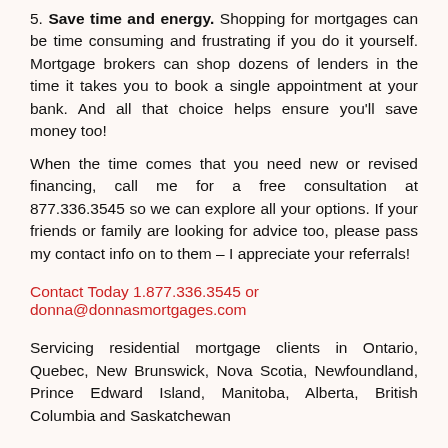5. Save time and energy. Shopping for mortgages can be time consuming and frustrating if you do it yourself. Mortgage brokers can shop dozens of lenders in the time it takes you to book a single appointment at your bank. And all that choice helps ensure you'll save money too!
When the time comes that you need new or revised financing, call me for a free consultation at 877.336.3545 so we can explore all your options. If your friends or family are looking for advice too, please pass my contact info on to them – I appreciate your referrals!
Contact Today 1.877.336.3545 or donna@donnasmortgages.com
Servicing residential mortgage clients in Ontario, Quebec, New Brunswick, Nova Scotia, Newfoundland, Prince Edward Island, Manitoba, Alberta, British Columbia and Saskatchewan